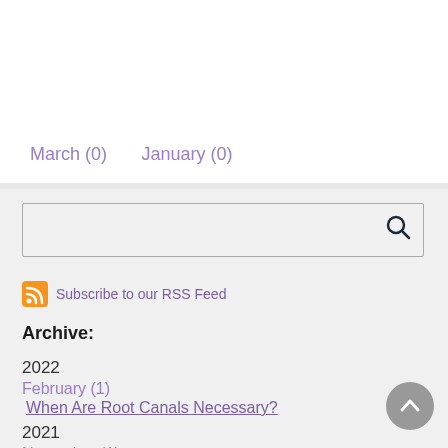March (0)    January (0)
[Figure (other): Search input box with magnifying glass icon]
Subscribe to our RSS Feed
Archive:
2022
February (1)
When Are Root Canals Necessary?
2021
November (1)